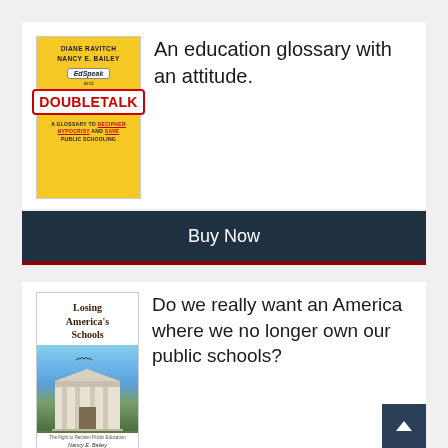[Figure (illustration): Book cover for 'EdSpeak and Doubletalk' by Diane Ravitch and Nancy E. Bailey. Yellow cover with speech bubble graphic and red 'DOUBLETALK' text, subtitle 'A Glossary to Decipher Hypocrisy and Save Public Schooling']
An education glossary with an attitude.
Buy Now
[Figure (illustration): Book cover for 'Losing America's Schools' by Nancy E. Bailey. White top with title text, photo of a school building, subtitle 'The Fight to Reclaim Public Education']
Do we really want an America where we no longer own our public schools?